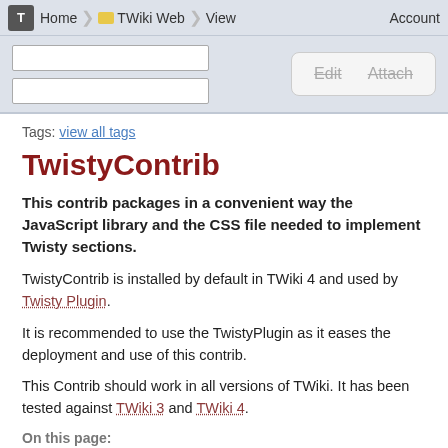Home / TWiki Web / View / Account
Tags: view all tags
TwistyContrib
This contrib packages in a convenient way the JavaScript library and the CSS file needed to implement Twisty sections.
TwistyContrib is installed by default in TWiki 4 and used by Twisty Plugin.
It is recommended to use the TwistyPlugin as it eases the deployment and use of this contrib.
This Contrib should work in all versions of TWiki. It has been tested against TWiki 3 and TWiki 4.
On this page:
↓ Usage examples